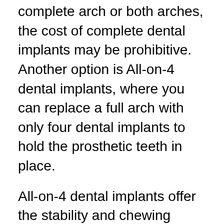complete arch or both arches, the cost of complete dental implants may be prohibitive. Another option is All-on-4 dental implants, where you can replace a full arch with only four dental implants to hold the prosthetic teeth in place.
All-on-4 dental implants offer the stability and chewing function of dental implants combined with a hybrid overdenture. The dental implants are placed using an advanced technique that requires less bone density and fewer implants to support the denture. While many implant-supported dentures need 5 to 8 implants, the specialized method used with All-on-4 allows for fewer implants. This means a more affordable option than the conventional dental implant